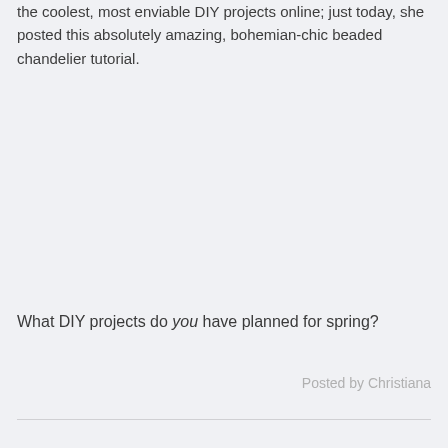the coolest, most enviable DIY projects online; just today, she posted this absolutely amazing, bohemian-chic beaded chandelier tutorial.
What DIY projects do you have planned for spring?
Posted by Christiana